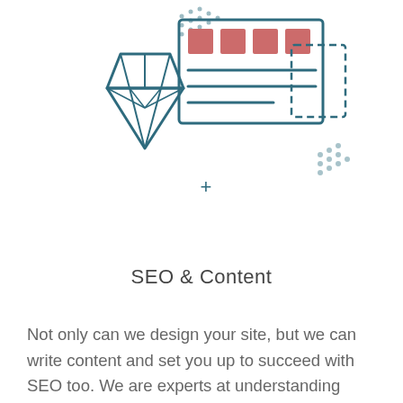[Figure (illustration): Line-art illustration of a web design / SEO concept: a diamond gemstone overlapping a browser or card UI element with four salmon/red squares at the top and horizontal lines below, plus decorative dotted elements and a plus sign, rendered in teal/dark-cyan outline style.]
SEO & Content
Not only can we design your site, but we can write content and set you up to succeed with SEO too. We are experts at understanding your business and writing clean, simple copy that explains what you do.